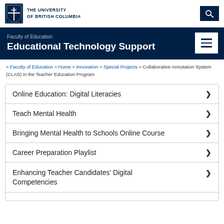[Figure (logo): UBC shield logo with text THE UNIVERSITY OF BRITISH COLUMBIA]
Faculty of Education
Educational Technology Support
» Faculty of Education » Home » Innovation » Special Projects » Collaborative Annotation System (CLAS) in the Teacher Education Program
Online Education: Digital Literacies
Teach Mental Health
Bringing Mental Health to Schools Online Course
Career Preparation Playlist
Enhancing Teacher Candidates' Digital Competencies